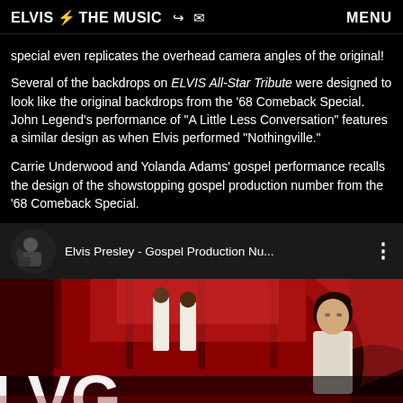ELVIS ⚡ THE MUSIC   MENU
special even replicates the overhead camera angles of the original!
Several of the backdrops on ELVIS All-Star Tribute were designed to look like the original backdrops from the '68 Comeback Special. John Legend's performance of "A Little Less Conversation" features a similar design as when Elvis performed "Nothingville."
Carrie Underwood and Yolanda Adams' gospel performance recalls the design of the showstopping gospel production number from the '68 Comeback Special.
[Figure (screenshot): YouTube video row showing Elvis Presley - Gospel Production Nu... with thumbnail and three-dot menu]
[Figure (photo): Video thumbnail showing Elvis Presley on stage in a red-and-white set with backup singers, with large white letters 'LVG' partially visible at bottom]